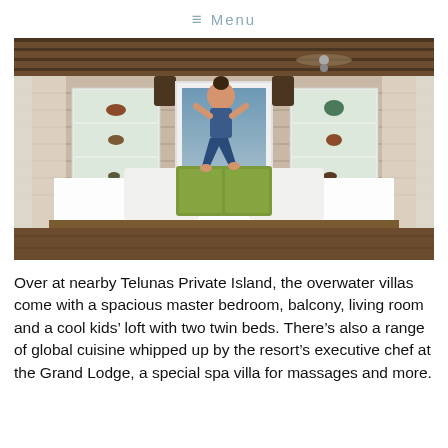≡ Menu
[Figure (photo): A child jumping on a large white bed in a rustic wooden overwater villa room. The room has whitewashed wood plank walls, built-in white shelves with decorative items, green patterned throw pillows, and white curtains on the sides. A ceiling fan is visible above.]
Over at nearby Telunas Private Island, the overwater villas come with a spacious master bedroom, balcony, living room and a cool kids' loft with two twin beds. There's also a range of global cuisine whipped up by the resort's executive chef at the Grand Lodge, a special spa villa for massages and more.